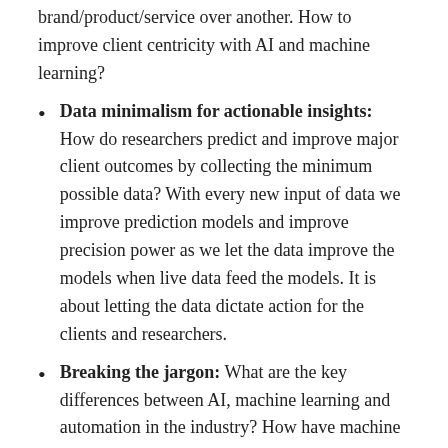brand/product/service over another. How to improve client centricity with AI and machine learning?
Data minimalism for actionable insights: How do researchers predict and improve major client outcomes by collecting the minimum possible data? With every new input of data we improve prediction models and improve precision power as we let the data improve the models when live data feed the models. It is about letting the data dictate action for the clients and researchers.
Breaking the jargon: What are the key differences between AI, machine learning and automation in the industry? How have machine learning, AI and automation evolved in marketing research in 2021?
Best practices: What are the ethical